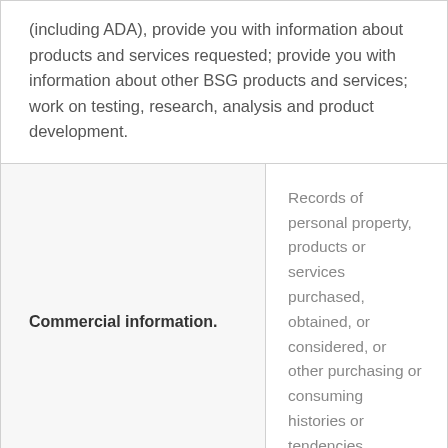(including ADA), provide you with information about products and services requested; provide you with information about other BSG products and services; work on testing, research, analysis and product development.
| Category | Description |
| --- | --- |
| Commercial information. | Records of personal property, products or services purchased, obtained, or considered, or other purchasing or consuming histories or tendencies. |
Purpose of Collection/Usage of Commercial Information